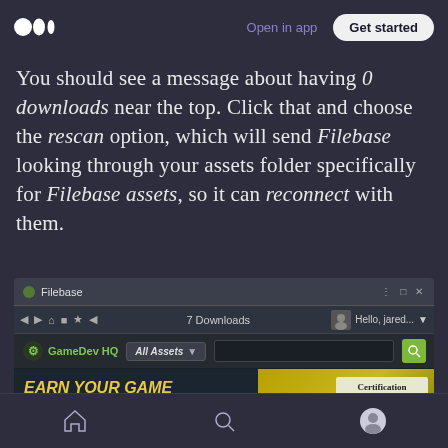Medium app header with logo, Open in app link, and Get started button
You should see a message about having 0 downloads near the top. Click that and choose the rescan option, which will send Filebase looking through your assets folder specifically for Filebase assets, so it can reconnect with them.
[Figure (screenshot): Screenshot of the Filebase asset manager application showing the toolbar with '7 Downloads', GameDev HQ logo, All Assets dropdown, search bar, and main content area showing 'EARN YOUR GAME DEVELOPMENT C...' with a Certification badge and 'RESCANNING FILES' banner at the bottom.]
Bottom navigation bar with home, search, and profile icons